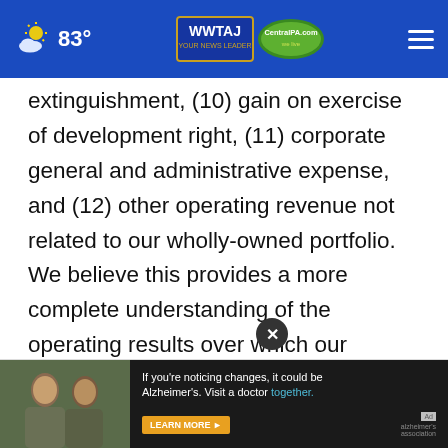83° WWTAJ CentralPA.com
extinguishment, (10) gain on exercise of development right, (11) corporate general and administrative expense, and (12) other operating revenue not related to our wholly-owned portfolio. We believe this provides a more complete understanding of the operating results over which our wholly-owned hotels and its operators have direct control. We believe hotel EBITDA provides investors with supplemental information about the operational performance of our hotels and the
[Figure (photo): Advertisement banner: Alzheimer's Association ad showing two people, text 'If you're noticing changes, it could be Alzheimer's. Visit a doctor together.' with LEARN MORE button]